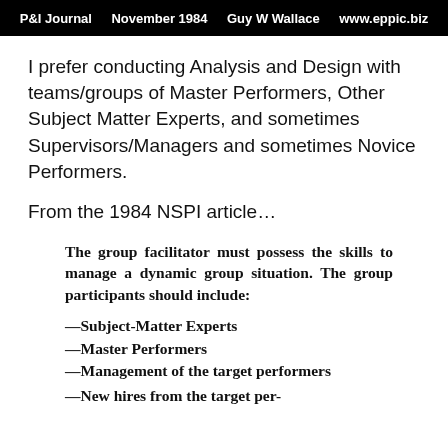P&I Journal   November 1984   Guy W Wallace   www.eppic.biz
I prefer conducting Analysis and Design with teams/groups of Master Performers, Other Subject Matter Experts, and sometimes Supervisors/Managers and sometimes Novice Performers.
From the 1984 NSPI article…
The group facilitator must possess the skills to manage a dynamic group situation. The group participants should include:
—Subject-Matter Experts
—Master Performers
—Management of the target performers
—New hires from the target per-